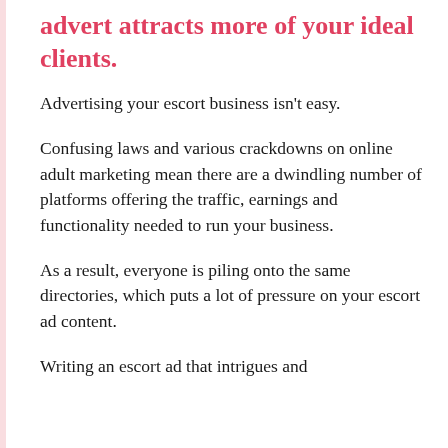advert attracts more of your ideal clients.
Advertising your escort business isn't easy.
Confusing laws and various crackdowns on online adult marketing mean there are a dwindling number of platforms offering the traffic, earnings and functionality needed to run your business.
As a result, everyone is piling onto the same directories, which puts a lot of pressure on your escort ad content.
Writing an escort ad that intrigues and